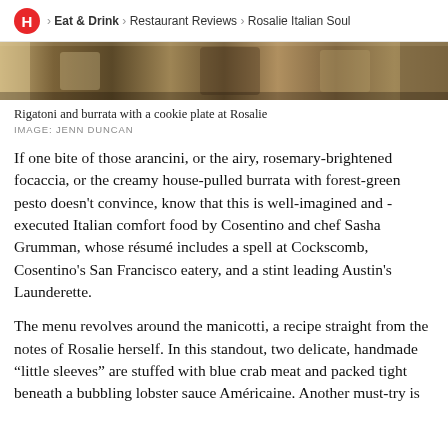H > Eat & Drink > Restaurant Reviews > Rosalie Italian Soul
[Figure (photo): Partial top view of food dishes at Rosalie restaurant — rigatoni, burrata, and a cookie plate]
Rigatoni and burrata with a cookie plate at Rosalie
IMAGE: JENN DUNCAN
If one bite of those arancini, or the airy, rosemary-brightened focaccia, or the creamy house-pulled burrata with forest-green pesto doesn't convince, know that this is well-imagined and -executed Italian comfort food by Cosentino and chef Sasha Grumman, whose résumé includes a spell at Cockscomb, Cosentino's San Francisco eatery, and a stint leading Austin's Launderette.
The menu revolves around the manicotti, a recipe straight from the notes of Rosalie herself. In this standout, two delicate, handmade “little sleeves” are stuffed with blue crab meat and packed tight beneath a bubbling lobster sauce Américaine. Another must-try is